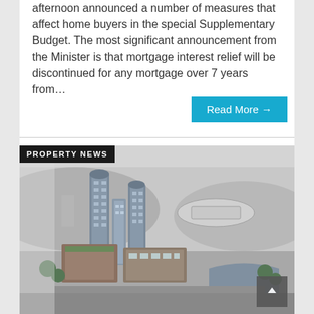afternoon announced a number of measures that affect home buyers in the special Supplementary Budget. The most significant announcement from the Minister is that mortgage interest relief will be discontinued for any mortgage over 7 years from…
Read More →
PROPERTY NEWS
[Figure (photo): Aerial architectural rendering of a large urban development with multiple high-rise towers and lower commercial/mixed-use buildings, surrounded by greenery, with hills and a stadium visible in the background. Image is in greyscale/desaturated tones.]